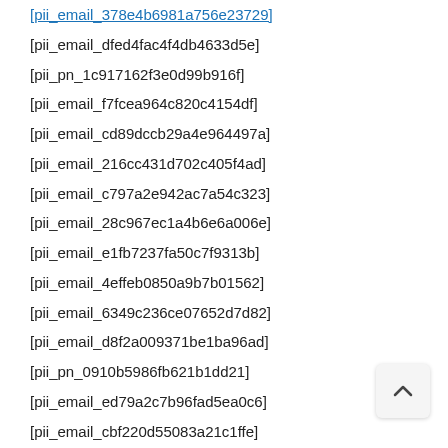[pii_email_378e4b6981a756e23729]
[pii_email_dfed4fac4f4db4633d5e]
[pii_pn_1c917162f3e0d99b916f]
[pii_email_f7fcea964c820c4154df]
[pii_email_cd89dccb29a4e964497a]
[pii_email_216cc431d702c405f4ad]
[pii_email_c797a2e942ac7a54c323]
[pii_email_28c967ec1a4b6e6a006e]
[pii_email_e1fb7237fa50c7f9313b]
[pii_email_4effeb0850a9b7b01562]
[pii_email_6349c236ce07652d7d82]
[pii_email_d8f2a009371be1ba96ad]
[pii_pn_0910b5986fb621b1dd21]
[pii_email_ed79a2c7b96fad5ea0c6]
[pii_email_cbf220d55083a21c1ffe]
[pii_email_e58ece745d35e262841f]
[pii_email_6455d34b6d56df0677c5]
[pii_pn_063dcb0fdc87a763ff84]